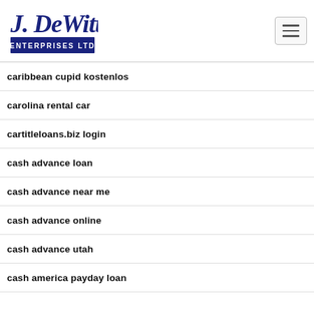J. DeWitt Enterprises Ltd
caribbean cupid kostenlos
carolina rental car
cartitleloans.biz login
cash advance loan
cash advance near me
cash advance online
cash advance utah
cash america payday loan